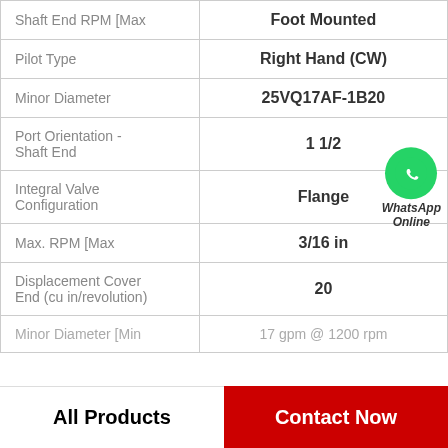| Property | Value |
| --- | --- |
| Shaft End RPM [Max | Foot Mounted |
| Pilot Type | Right Hand (CW) |
| Minor Diameter | 25VQ17AF-1B20 |
| Port Orientation - Shaft End | 1 1/2 |
| Integral Valve Configuration | Flange |
| Max. RPM [Max | 3/16 in |
| Displacement Cover End (cu in/revolution) | 20 |
| Minor Diameter [Min | 17 gpm @ 1200 rpm |
[Figure (logo): WhatsApp Online contact badge with green phone icon]
All Products    Contact Now